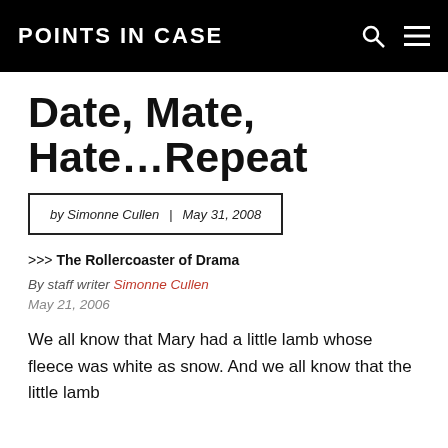POINTS IN CASE
Date, Mate, Hate…Repeat
by Simonne Cullen | May 31, 2008
>>> The Rollercoaster of Drama
By staff writer Simonne Cullen
May 21, 2006
We all know that Mary had a little lamb whose fleece was white as snow. And we all know that the little lamb